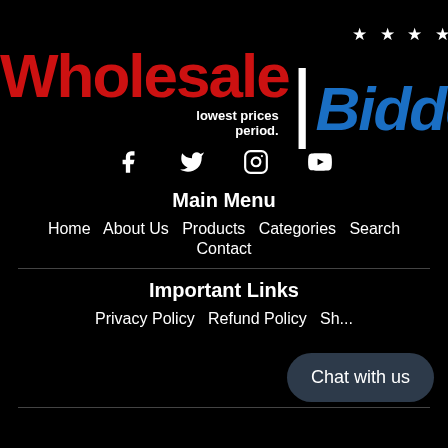[Figure (logo): Wholesale Bidder logo: 'Wholesale' in large red bold text, 'Bidder' in large blue bold italic text, with a white vertical divider bar and stars above, tagline 'lowest prices period.' in white]
[Figure (infographic): Social media icons: Facebook, Twitter, Instagram, YouTube in white]
Main Menu
Home  About Us  Products  Categories  Search  Contact
Important Links
Privacy Policy  Refund Policy  Sh...
Chat with us